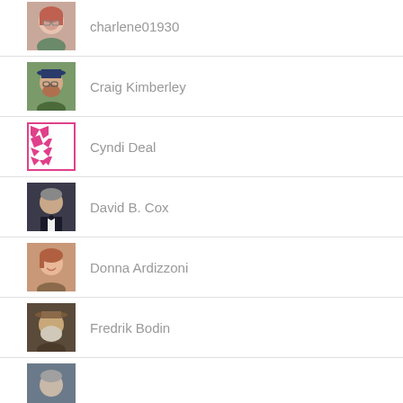charlene01930
Craig Kimberley
Cyndi Deal
David B. Cox
Donna Ardizzoni
Fredrik Bodin
(partial user)